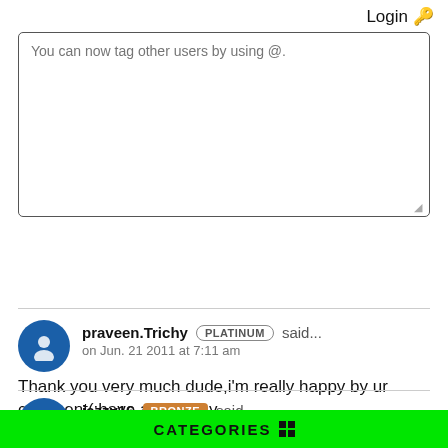Login 🔑
You can now tag other users by using @.
POST COMMENT
praveen.Trichy PLATINUM said... on Jun. 21 2011 at 7:11 am
Thank you very much dude,i'm really happy by ur comment(:have a nice day
jazzy16 BRONZE said...
CATEGORIES